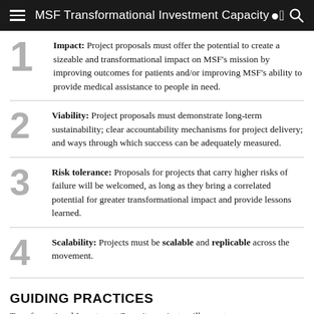MSF Transformational Investment Capacity
Impact: Project proposals must offer the potential to create a sizeable and transformational impact on MSF's mission by improving outcomes for patients and/or improving MSF's ability to provide medical assistance to people in need.
Viability: Project proposals must demonstrate long-term sustainability; clear accountability mechanisms for project delivery; and ways through which success can be adequately measured.
Risk tolerance: Proposals for projects that carry higher risks of failure will be welcomed, as long as they bring a correlated potential for greater transformational impact and provide lessons learned.
Scalability: Projects must be scalable and replicable across the movement.
GUIDING PRACTICES
Transformational Investment Capacity projects will operate